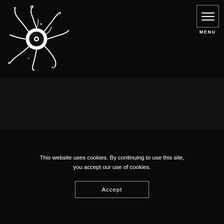[Figure (logo): Tentacled eye creature logo — a vinyl record eye surrounded by tentacle-like appendages, rendered in black and white]
MENU
This website uses cookies. By continuing to use this site, you accept our use of cookies.
Accept